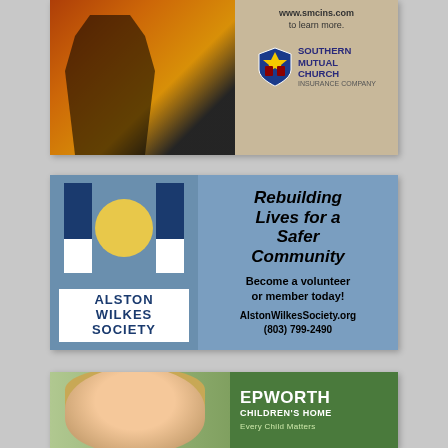[Figure (illustration): Advertisement for Southern Mutual Church Insurance Company. Left side shows a firefighter silhouette against flames. Right side shows a tan/beige background with text 'www.smcins.com to learn more.' and the Southern Mutual Church Insurance Company logo.]
[Figure (illustration): Advertisement for Alston Wilkes Society. Blue background. Left side features the Alston Wilkes Society logo (two blue columns flanking a yellow circle, with 'ALSTON WILKES SOCIETY' text below). Right side features bold italic text 'Rebuilding Lives for a Safer Community', followed by 'Become a volunteer or member today!' and contact info 'AlstonWilkesSociety.org (803) 799-2490'.]
[Figure (illustration): Partially visible advertisement for Epworth Children's Home. Left side shows a child's face. Right side shows green background with text 'EPWORTH CHILDREN'S HOME' and partial lower text.]